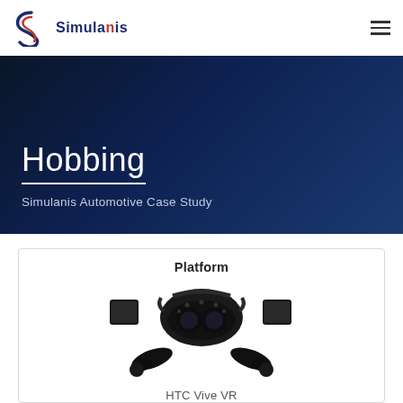Simulanis
Hobbing
Simulanis Automotive Case Study
Platform
[Figure (photo): HTC Vive VR headset with two controllers and two base station sensors shown from the front against a white background]
HTC Vive VR
Industry